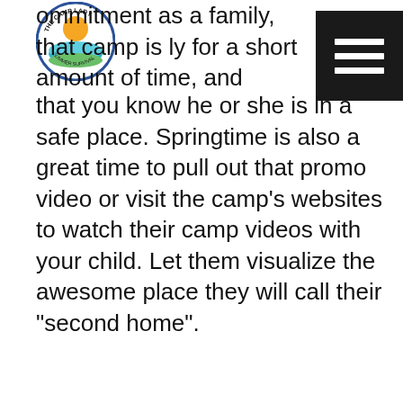The Camp Lady - Summer Survival
ommitment as a family, that camp is ly for a short amount of time, and that you know he or she is in a safe place. Springtime is also a great time to pull out that promo video or visit the camp's websites to watch their camp videos with your child. Let them visualize the awesome place they will call their “second home”.
Posted in Blog, Everything Camp, The Camp Lady | Leave a reply
Calling All First Time Camp Parents